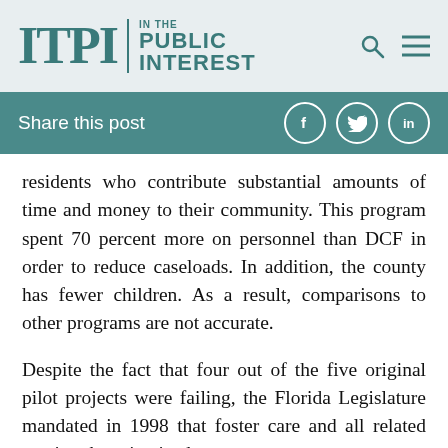ITPI | IN THE PUBLIC INTEREST
Share this post
residents who contribute substantial amounts of time and money to their community. This program spent 70 percent more on personnel than DCF in order to reduce caseloads. In addition, the county has fewer children. As a result, comparisons to other programs are not accurate.
Despite the fact that four out of the five original pilot projects were failing, the Florida Legislature mandated in 1998 that foster care and all related services be privatized